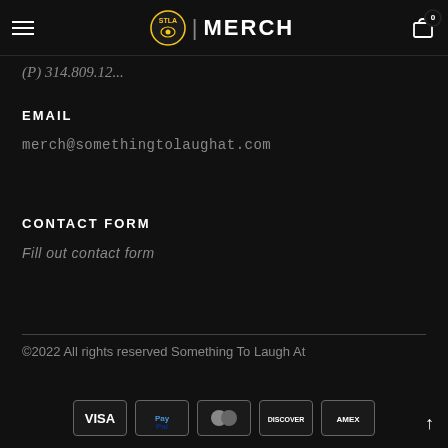STLA MERCH
(P) [partial phone number]
EMAIL
merch@somethingtolaughat.com
CONTACT FORM
Fill out contact form
©2022 All rights reserved Something To Laugh At
[Figure (logo): Payment method icons: VISA, PayPal, Mastercard, Discover, AMEX]